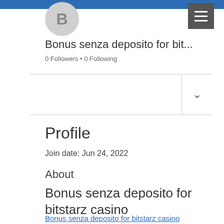[Figure (illustration): User profile avatar circle with letter B, blue header bar, and hamburger menu button]
Bonus senza deposito for bit...
0 Followers • 0 Following
Profile
Join date: Jun 24, 2022
About
Bonus senza deposito for bitstarz casino
Bonus senza deposito for bitstarz casino